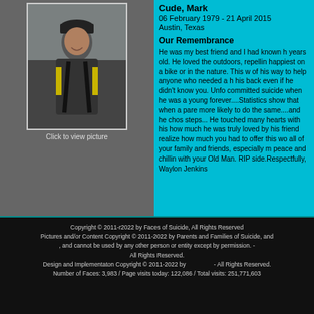[Figure (photo): Young man wearing a black cap and backpack, smiling outdoors]
Click to view picture
Cude, Mark
06 February 1979 - 21 April 2015
Austin, Texas
Our Remembrance
He was my best friend and I had known h... years old. He loved the outdoors, repelling... happiest on a bike or in the nature. This w... of his way to help anyone who needed a h... his back even if he didn't know you. Unfo... committed suicide when he was a young... forever....Statistics show that when a pare... more likely to do the same....and he chos... steps... He touched many hearts with his... how much he was truly loved by his friend... realize how much you had to offer this wo... all of your family and friends, especially m... peace and chillin with your Old Man. RIP... side.Respectfully, Waylon Jenkins
Copyright © 2011-r2022 by Faces of Suicide, All Rights Reserved
Pictures and/or Content Copyright © 2011-2022 by Parents and Families of Suicide, and , and cannot be used by any other person or entity except by permission. - All Rights Reserved.
Design and Implementaton Copyright © 2011-2022 by                  - All Rights Reserved.
Number of Faces: 3,983 / Page visits today: 122,086 / Total visits: 251,771,603